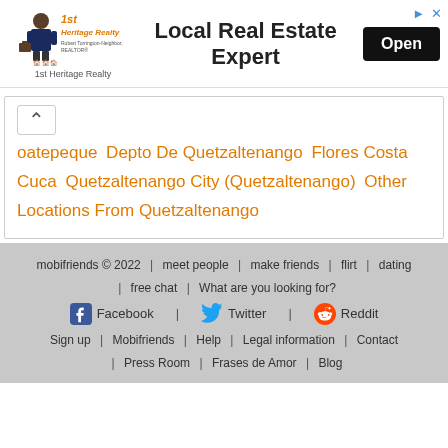[Figure (other): 1st Heritage Realty advertisement banner with logo, 'Local Real Estate Expert' headline, and Open button]
oatepeque  Depto De Quetzaltenango  Flores Costa Cuca  Quetzaltenango City (Quetzaltenango)  Other Locations From Quetzaltenango
mobifriends © 2022 | meet people | make friends | flirt | dating | free chat | What are you looking for? | Facebook | Twitter | Reddit | Sign up | Mobifriends | Help | Legal information | Contact | Press Room | Frases de Amor | Blog